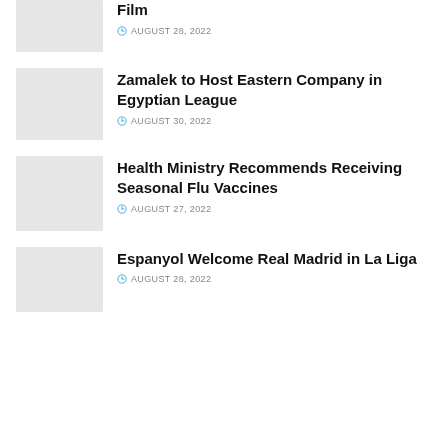[Figure (photo): Thumbnail image placeholder (gray box) for Film article]
Film
AUGUST 28, 2022
[Figure (photo): Thumbnail image placeholder (gray box) for Zamalek article]
Zamalek to Host Eastern Company in Egyptian League
AUGUST 30, 2022
[Figure (photo): Thumbnail image placeholder (gray box) for Health Ministry article]
Health Ministry Recommends Receiving Seasonal Flu Vaccines
AUGUST 27, 2022
[Figure (photo): Thumbnail image placeholder (gray box) for Espanyol article]
Espanyol Welcome Real Madrid in La Liga
AUGUST 28, 2022